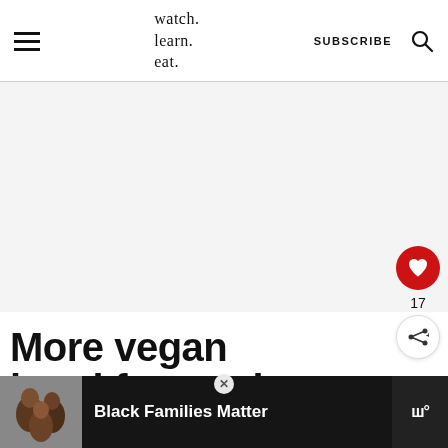watch. learn. eat. | SUBSCRIBE
[Figure (other): Light gray advertisement placeholder area]
More vegan breakfast recip…
17
WHAT'S NEXT → Vegan Brownie Bites
[Figure (photo): Bottom advertisement bar with people photo and text 'Black Families Matter']